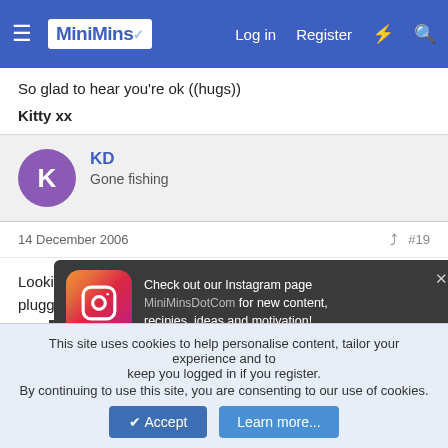MiniMins — Log in | Register
So glad to hear you're ok ((hugs))
Kitty xx
KD
Gone fishing
14 December 2006  #19
Looking on the bright side. There I was, all top naked and plugged in, when I m (not in a ward...just the 'hold a)
[Figure (screenshot): Instagram popup: Check out our Instagram page MiniMinsDotCom for new content, recipies, ideas and motivation!]
The screen was pulled open and I was in too much pain to say
This site uses cookies to help personalise content, tailor your experience and to keep you logged in if you register.
By continuing to use this site, you are consenting to our use of cookies.